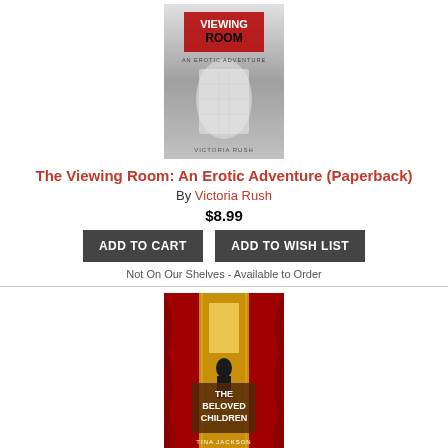[Figure (photo): Book cover of 'The Viewing Room: An Erotic Adventure' by Victoria Rush — grayscale cover with red text showing 'VIEWING ROOM' and 'AN EROTIC ADVENTURE' over a blurred figure]
The Viewing Room: An Erotic Adventure (Paperback)
By Victoria Rush
$8.99
ADD TO CART
ADD TO WISH LIST
Not On Our Shelves - Available to Order
[Figure (photo): Book cover of 'The Beloved Children' by Tina Jackson — colorful cover with red curtains, golden background, silhouette figures, title text in bold white]
The Beloved Children (Hardcover)